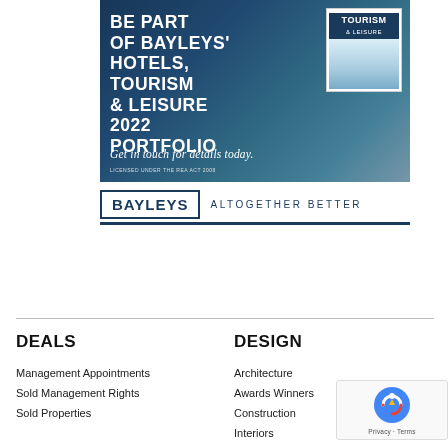[Figure (advertisement): Bayleys Hotels, Tourism & Leisure 2022 Portfolio advertisement. Dark background with coastal/hotel imagery. Text: BE PART OF BAYLEYS' HOTELS, TOURISM & LEISURE 2022 PORTFOLIO. Get in touch for details today. LICENSED UNDER THE REA ACT 2008. Tourism & Leisure magazine badge in top right.]
[Figure (logo): Bayleys logo in dark navy border box with tagline ALTOGETHER BETTER]
DEALS
Management Appointments
Sold Management Rights
Sold Properties
DESIGN
Architecture
Awards Winners
Construction
Interiors
Landscaping
Sustainability